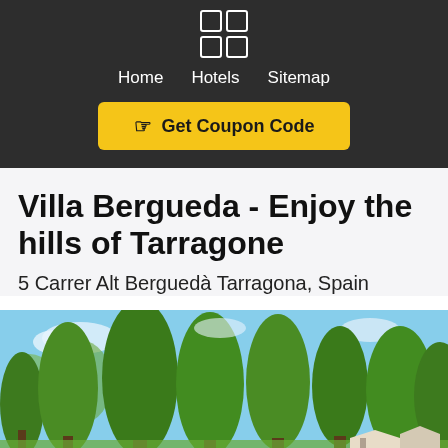[Figure (logo): 2x2 grid of white-outlined squares forming a logo icon]
Home  Hotels  Sitemap
☞ Get Coupon Code
Villa Bergueda - Enjoy the hills of Tarragone
5 Carrer Alt Berguedà Tarragona, Spain
[Figure (photo): Outdoor photo showing tall green pine trees under a partly cloudy blue sky, with rooftops visible in the lower right corner]